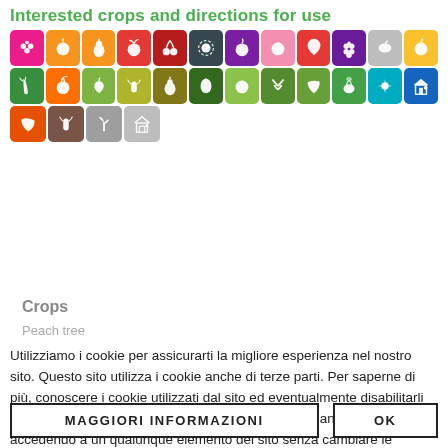Interested crops and directions for use
[Figure (infographic): Grid of colorful crop/plant icons on colored square backgrounds, arranged in 3 rows. Row 1: fruits (berries, peach, pear, apple, cherry, sunflower center, plum, apricot, strawberry, grapes, lemon, orange) on pink/orange/red/dark/purple/yellow backgrounds. Row 2: vegetables and plants (carrots, tomato, pepper, corn, pear, artichoke, lettuce, celery, leaf, onion, flower, greenhouse) on green/olive/teal/blue backgrounds. Row 3: leaf, corn, seedling, house/greenhouse on orange/brown/gray/light-gray backgrounds.]
Crops
Peach tree
Utilizziamo i cookie per assicurarti la migliore esperienza nel nostro sito. Questo sito utilizza i cookie anche di terze parti. Per saperne di più, conoscere i cookie utilizzati dal sito ed eventualmente disabilitarli accedi alla Privacy Policy. Cliccando su OK, continuando a navigare o accedendo a un qualunque elemento del sito senza cambiare le impostazioni dei cookie, accetterai implicitamente di ricevere cookie dal nostro sito.
MAGGIORI INFORMAZIONI
OK